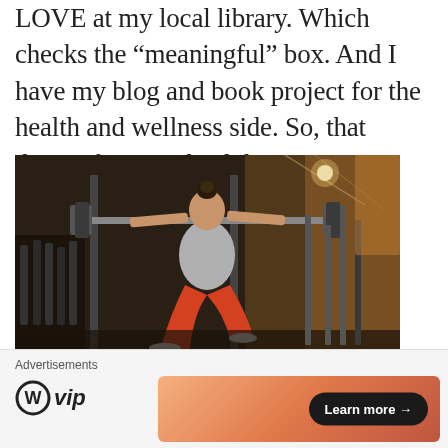LOVE at my local library. Which checks the “meaningful” box. And I have my blog and book project for the health and wellness side. So, that desire, for now, lead down two different paths.
[Figure (photo): Woman in orange leggings and grey sleeveless top doing a squat with a barbell on her shoulders in a gym, with weights and equipment in the background.]
Advertisements
[Figure (logo): WordPress VIP logo with circular W icon and italic 'vip' text]
[Figure (infographic): Orange gradient advertisement banner with 'Learn more' button in black pill shape]